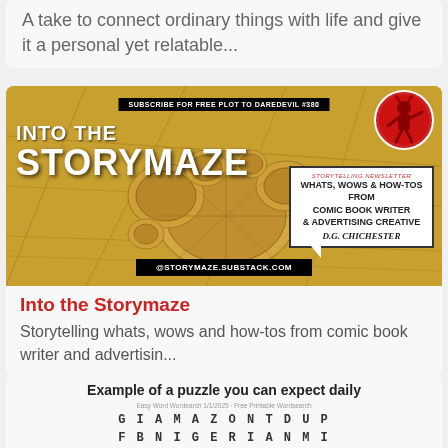A take to connect ordinary things with life and give it a personal yet relatable...
[Figure (illustration): Into the Storymaze newsletter promotional banner with crop circle background, Daredevil figure in red circle, speech bubble with newsletter description, and @storymaze.substack.com URL bar]
Into the Storymaze
Storytelling whats, wows and how-tos from comic book writer and advertisin...
Example of a puzzle you can expect daily
G I A M A Z O N T D U P
F B N I G E R I A N M I
F B B M N H M A B U G H